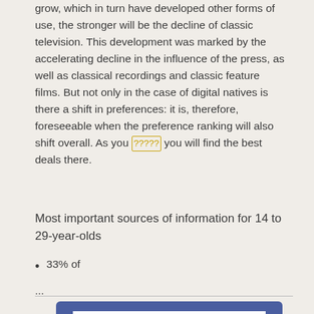grow, which in turn have developed other forms of use, the stronger will be the decline of classic television. This development was marked by the accelerating decline in the influence of the press, as well as classical recordings and classic feature films. But not only in the case of digital natives is there a shift in preferences: it is, therefore, foreseeable when the preference ranking will also shift overall. As you [link] you will find the best deals there.
Most important sources of information for 14 to 29-year-olds
33% of
...
[Figure (screenshot): A screenshot or image placeholder with a blue border/frame and white interior, containing a small play/arrow icon in the center.]